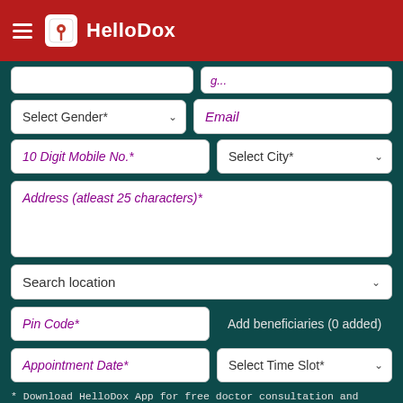HelloDox
[Figure (screenshot): HelloDox app booking form with fields for gender, email, mobile, city, address, search location, pin code, appointment date, time slot, payment mode, and book button]
Select Gender*
Email
10 Digit Mobile No.*
Select City*
Address (atleast 25 characters)*
Search location
Pin Code*
Add beneficiaries (0 added)
Appointment Date*
Select Time Slot*
* Download HelloDox App for free doctor consultation and additional discount in lab test booking.
Payment Mode : Pay Now Pay Later
Payment link will be sent within 2 hours of confirmed booking. You can also pay to technician, when he visits for sample collection.
BOOK